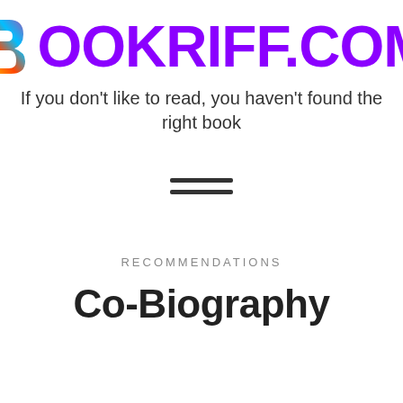[Figure (logo): Bookriff.com logo with colorful B icon and purple text BOOKRIFF.COM]
If you don't like to read, you haven't found the right book
[Figure (other): Hamburger menu icon (three horizontal lines)]
RECOMMENDATIONS
Co-Biography